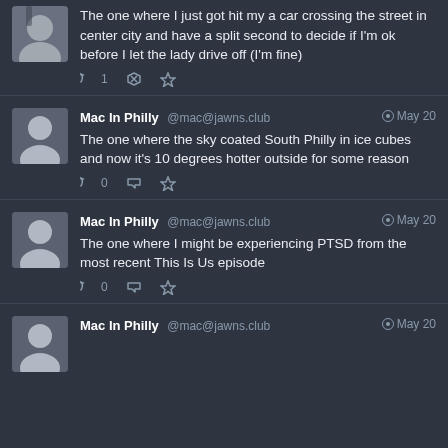The one where I just got hit my a car crossing the street in center city and have a split second to decide if I'm ok before I let the lady drive off (I'm fine)
Mac In Philly @mac@jawns.club May 20
The one where the sky coated South Philly in ice cubes and now it's 10 degrees hotter outside for some reason
Mac In Philly @mac@jawns.club May 20
The one where I might be experiencing PTSD from the most recent This Is Us episode
Mac In Philly @mac@jawns.club May 20